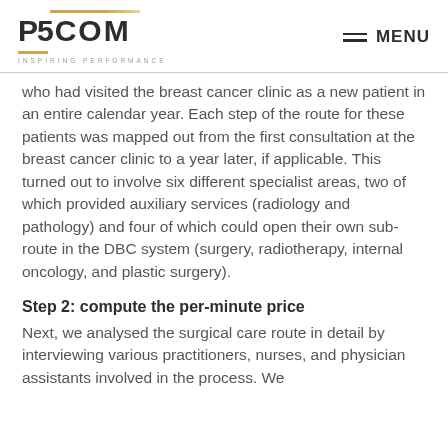P5 COM INSPIRING PERFORMANCE | MENU
who had visited the breast cancer clinic as a new patient in an entire calendar year. Each step of the route for these patients was mapped out from the first consultation at the breast cancer clinic to a year later, if applicable. This turned out to involve six different specialist areas, two of which provided auxiliary services (radiology and pathology) and four of which could open their own sub-route in the DBC system (surgery, radiotherapy, internal oncology, and plastic surgery).
Step 2: compute the per-minute price
Next, we analysed the surgical care route in detail by interviewing various practitioners, nurses, and physician assistants involved in the process. We